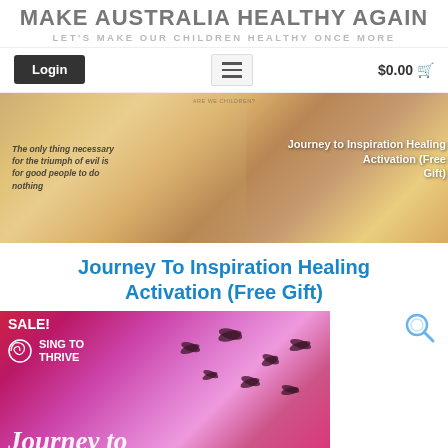MAKE AUSTRALIA HEALTHY AGAIN
LET'S MAKE OUR CHILDREN HEALTHY ONCE MORE
Login   ≡   $0.00
[Figure (photo): Hero banner image with golden/warm tones showing healing imagery, overlaid with italic quote text 'The only thing necessary for the triumph of evil is for good people to do nothing' on the left, and product title 'Journey to Inspiration Healing Activation (Free Gift)' text on the right. Small watermark text visible at top center.]
Journey To Inspiration Healing Activation (Free Gift)
[Figure (photo): Product promotional image with pink/magenta/red gradient background, birds silhouettes flying, 'SALE!' badge top left, Sing to Thrive logo with spiral icon, and 'Journey to' in cursive white script at the bottom.]